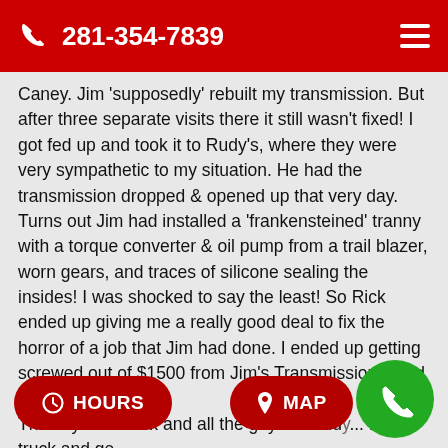281-354-7839
Caney. Jim 'supposedly' rebuilt my transmission. But after three separate visits there it still wasn't fixed! I got fed up and took it to Rudy's, where they were very sympathetic to my situation. He had the transmission dropped & opened up that very day. Turns out Jim had installed a 'frankensteined' tranny with a torque converter & oil pump from a trail blazer, worn gears, and traces of silicone sealing the insides! I was shocked to say the least! So Rick ended up giving me a really good deal to fix the horror of a job that Jim had done. I ended up getting screwed out of $1500 from Jim's Transmissions, and learned a lesson. Thank you to Rick and all the guys at Rudy's... my truck and ge... th...